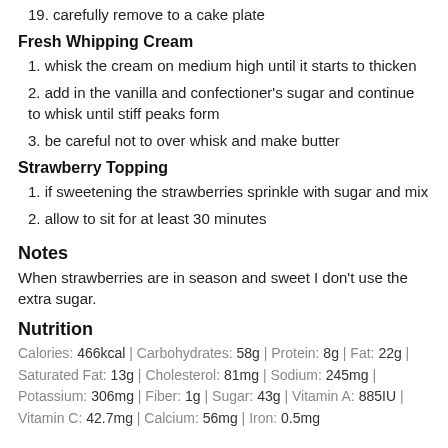19. carefully remove to a cake plate
Fresh Whipping Cream
1. whisk the cream on medium high until it starts to thicken
2. add in the vanilla and confectioner's sugar and continue to whisk until stiff peaks form
3. be careful not to over whisk and make butter
Strawberry Topping
1. if sweetening the strawberries sprinkle with sugar and mix
2. allow to sit for at least 30 minutes
Notes
When strawberries are in season and sweet I don't use the extra sugar.
Nutrition
Calories: 466kcal | Carbohydrates: 58g | Protein: 8g | Fat: 22g | Saturated Fat: 13g | Cholesterol: 81mg | Sodium: 245mg | Potassium: 306mg | Fiber: 1g | Sugar: 43g | Vitamin A: 885IU | Vitamin C: 42.7mg | Calcium: 56mg | Iron: 0.5mg